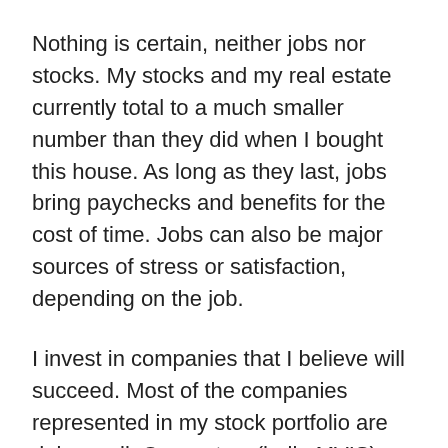Nothing is certain, neither jobs nor stocks. My stocks and my real estate currently total to a much smaller number than they did when I bought this house. As long as they last, jobs bring paychecks and benefits for the cost of time. Jobs can also be major sources of stress or satisfaction, depending on the job.
I invest in companies that I believe will succeed. Most of the companies represented in my stock portfolio are doing well. One or two (hello MVIS) don't appear to be doing well, but have enormous potential. Two companies, American Superconductor and Dendreon, are progressing as I expected, but their stocks, AMSC and DNDN, are worth much less than I think is reasonable. Maybe I am wrong. Maybe the market is wrong.
If I am significantly wrong, then sometime in the next few